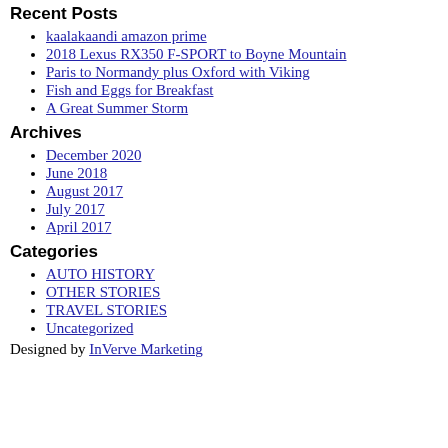Recent Posts
kaalakaandi amazon prime
2018 Lexus RX350 F-SPORT to Boyne Mountain
Paris to Normandy plus Oxford with Viking
Fish and Eggs for Breakfast
A Great Summer Storm
Archives
December 2020
June 2018
August 2017
July 2017
April 2017
Categories
AUTO HISTORY
OTHER STORIES
TRAVEL STORIES
Uncategorized
Designed by InVerve Marketing